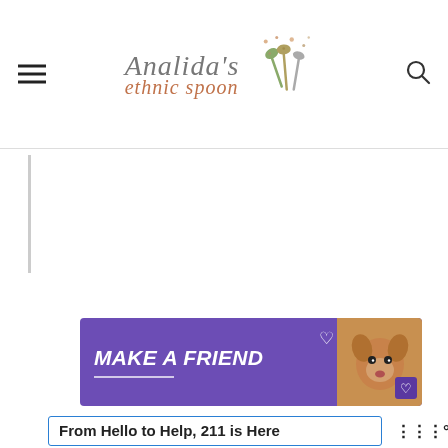Analida's ethnic spoon
[Figure (logo): Analida's ethnic spoon logo with decorative spoons illustration]
[Figure (infographic): Make A Friend advertisement banner with dog and hearts, purple background]
[Figure (infographic): From Hello to Help, 211 is Here advertisement banner with blue border. Subtext: Food. With a Tasty logo to the right.]